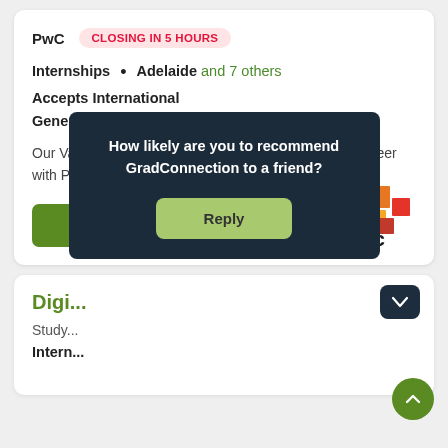PwC
CLOSING IN 5 HOURS
Internships • Adelaide and 7 others
Accepts International
Generalist › 7 disciplines
Our Vacation Program could be the first step in your career with PwC.
[Figure (logo): PwC logo with coloured blocks and 'pwc' text]
Digi...
Study...
Intern...
How likely are you to recommend GradConnection to a friend?
Reply